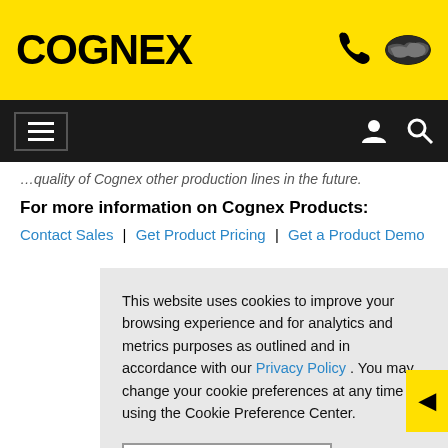COGNEX
...quality of Cognex other production lines in the future.
For more information on Cognex Products:
Contact Sales | Get Product Pricing | Get a Product Demo
This website uses cookies to improve your browsing experience and for analytics and metrics purposes as outlined and in accordance with our Privacy Policy . You may change your cookie preferences at any time using the Cookie Preference Center.
Accept All Cookies
Cookie Preference Center